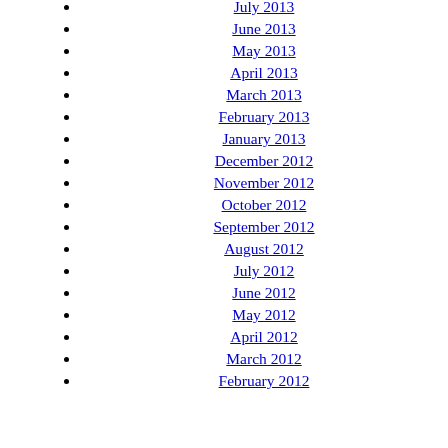July 2013
June 2013
May 2013
April 2013
March 2013
February 2013
January 2013
December 2012
November 2012
October 2012
September 2012
August 2012
July 2012
June 2012
May 2012
April 2012
March 2012
February 2012